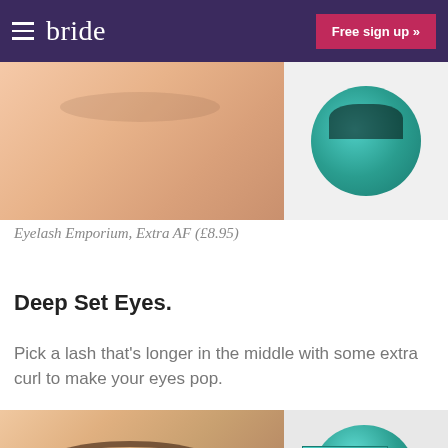bride  Free sign up »
[Figure (photo): Close-up of a person's eye area (upper half) showing skin and eyelid, next to a teal round eyelash case containing false eyelashes]
Eyelash Emporium, Extra AF (£8.95)
Deep Set Eyes.
Pick a lash that's longer in the middle with some extra curl to make your eyes pop.
[Figure (photo): Close-up of a person's eyebrow area showing natural brow hairs, next to a teal eyelash case and product packaging labeled EYELASH]